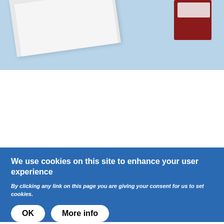[Figure (photo): Photo of an envelope and popcorn on a light blue background]
STORY
Ones to Watch Young Programmers Academy Open for Recruitment
Nerve Centre's Ones to Watch programme, supported by Film Hub NI, is looking for 17-25 year olds to participate in a new programmers
We use cookies on this site to enhance your user experience
By clicking any link on this page you are giving your consent for us to set cookies.
OK   More info